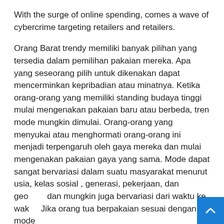With the surge of online spending, comes a wave of cybercrime targeting retailers and retailers.
Orang Barat trendy memiliki banyak pilihan yang tersedia dalam pemilihan pakaian mereka. Apa yang seseorang pilih untuk dikenakan dapat mencerminkan kepribadian atau minatnya. Ketika orang-orang yang memiliki standing budaya tinggi mulai mengenakan pakaian baru atau berbeda, tren mode mungkin dimulai. Orang-orang yang menyukai atau menghormati orang-orang ini menjadi terpengaruh oleh gaya mereka dan mulai mengenakan pakaian gaya yang sama. Mode dapat sangat bervariasi dalam suatu masyarakat menurut usia, kelas sosial , generasi, pekerjaan, dan geografi dan mungkin juga bervariasi dari waktu ke waktu. Jika orang tua berpakaian sesuai dengan mode